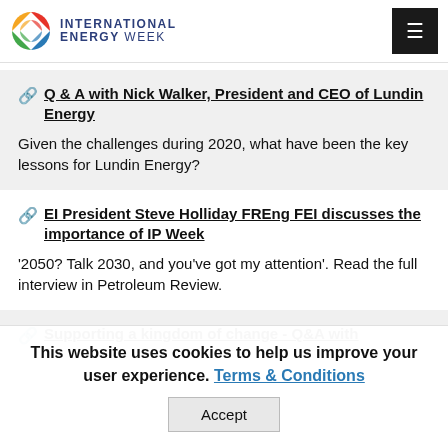[Figure (logo): International Energy Week logo with colored globe icon and text]
Q & A with Nick Walker, President and CEO of Lundin Energy — Given the challenges during 2020, what have been the key lessons for Lundin Energy?
EI President Steve Holliday FREng FEI discusses the importance of IP Week — '2050? Talk 2030, and you've got my attention'. Read the full interview in Petroleum Review.
Supporting a kingdom of change - Q&A with
This website uses cookies to help us improve your user experience. Terms & Conditions — Accept